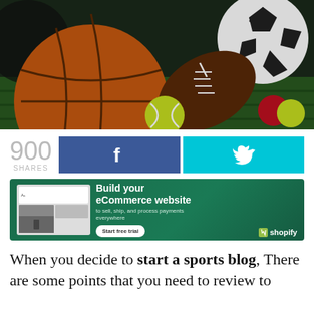[Figure (photo): Collection of sports balls on grass: basketball, American football, soccer ball, tennis ball, and red/yellow ball]
900 SHARES
[Figure (infographic): Facebook share button (blue, f icon) and Twitter share button (cyan, bird icon)]
[Figure (infographic): Shopify advertisement banner: Build your eCommerce website to sell, ship, and process payments everywhere. Start free trial button. Shopify logo.]
When you decide to start a sports blog, There are some points that you need to review to